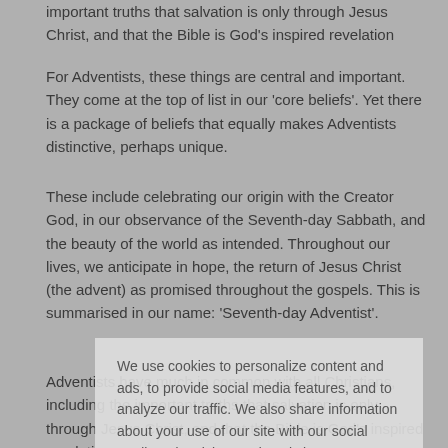important truths that salvation is only through Jesus Christ, and that the Bible is God's inspired revelation
For Adventists, these things are central and important. They come at the top of list in our 'core beliefs'. Yet there is a package of beliefs that equally makes Adventists distinctive, perhaps unique.
These include celebrating our origin with the Creator God, in our observance of the Seventh-day Sabbath, and the beauty of the world as intended. Throughout our lives, we anticipate in hope, the return of Jesus Christ (the advent) as promised throughout the gospels. This is summarised in our name: 'Seventh-day Adventist'.
Adventists have much in common with all Christians, including the important truths that salvation is only through Jesus Christ, and that the Bible is God's inspired revelation
For Adventists, these things are central and important. They come at the top of list in our 'core beliefs'. Yet there is a package of beliefs that equally makes Adventists distinctive, perhaps unique.
These include celebrating our origin with the Creator God, in our observance of the Seventh-day Sabbath, and the beauty of the world as intended. Throughout our lives we anticipate in hope the return of
We use cookies to personalize content and ads, to provide social media features, and to analyze our traffic. We also share information about your use of our site with our social media, advertising, and analytics partners.
Cookie Settings